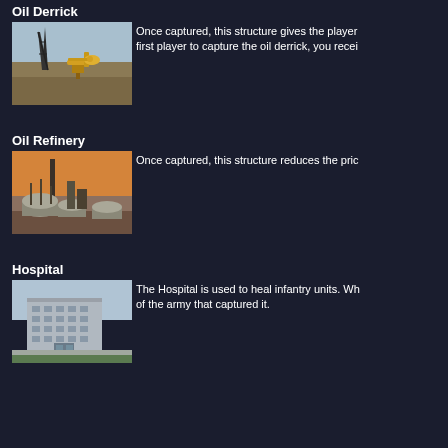Oil Derrick
[Figure (photo): Photo of an oil derrick pump jack in a field]
Once captured, this structure gives the player first player to capture the oil derrick, you recei
Oil Refinery
[Figure (photo): Photo of an oil refinery with tanks and towers]
Once captured, this structure reduces the pric
Hospital
[Figure (photo): Photo of a multi-story hospital building]
The Hospital is used to heal infantry units. Wh of the army that captured it.